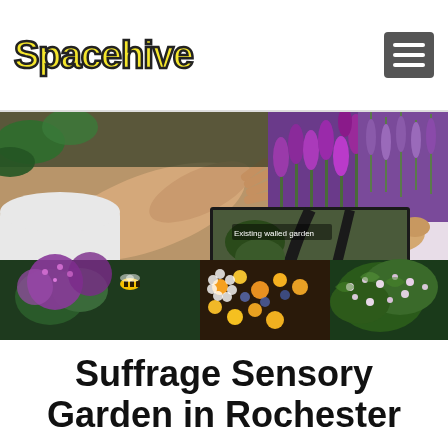Spacehive
[Figure (photo): A collage of garden/sensory images: elderly person in wheelchair reaching toward plants, purple flowers, aerial map of walled garden with label 'Existing walled garden' and 'St. Vera Conway Gordon's Family Home', purple allium flowers with bee, colorful daisy-like flowers, herb foliage, green leaves with small white flowers.]
Suffrage Sensory Garden in Rochester